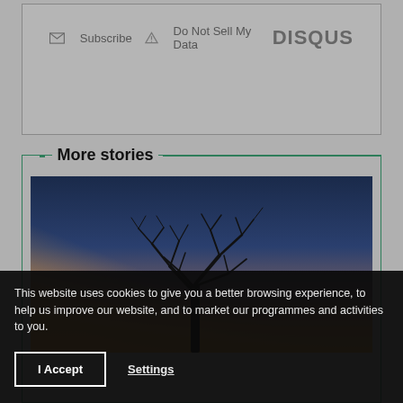[Figure (screenshot): Disqus comment widget footer bar with Subscribe and Do Not Sell My Data links, and DISQUS logo on the right]
More stories
[Figure (photo): Photograph of a bare tree silhouette against a sunset sky with gradient from orange/yellow at the bottom to dark blue at the top]
This website uses cookies to give you a better browsing experience, to help us improve our website, and to market our programmes and activities to you.
I Accept
Settings